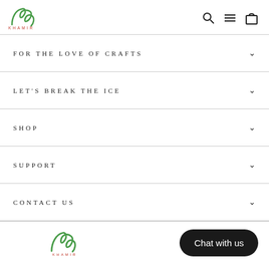KHAMIR logo with navigation icons (search, menu, bag)
FOR THE LOVE OF CRAFTS
LET'S BREAK THE ICE
SHOP
SUPPORT
CONTACT US
[Figure (logo): Khamir logo repeated in footer area]
Chat with us